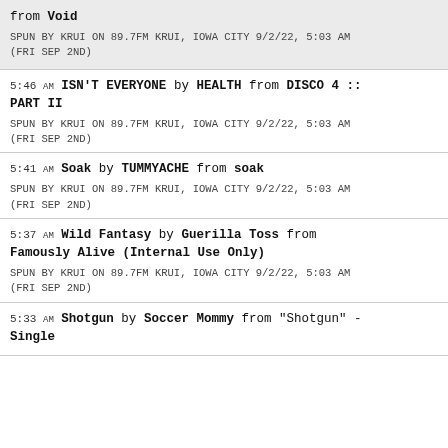from Void
SPUN BY KRUI ON 89.7FM KRUI, IOWA CITY 9/2/22, 5:03 AM (FRI SEP 2ND)
5:46 AM ISN'T EVERYONE by HEALTH from DISCO 4 :: PART II
SPUN BY KRUI ON 89.7FM KRUI, IOWA CITY 9/2/22, 5:03 AM (FRI SEP 2ND)
5:41 AM Soak by TUMMYACHE from soak
SPUN BY KRUI ON 89.7FM KRUI, IOWA CITY 9/2/22, 5:03 AM (FRI SEP 2ND)
5:37 AM Wild Fantasy by Guerilla Toss from Famously Alive (Internal Use Only)
SPUN BY KRUI ON 89.7FM KRUI, IOWA CITY 9/2/22, 5:03 AM (FRI SEP 2ND)
5:33 AM Shotgun by Soccer Mommy from "Shotgun" - Single